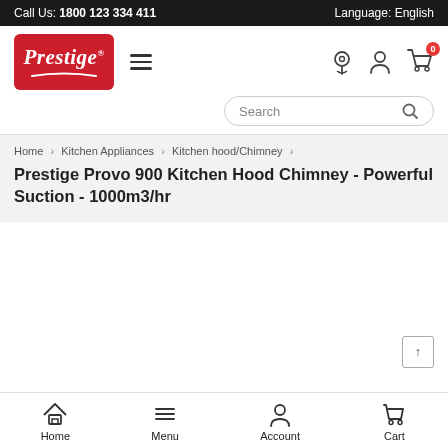Call Us: 1800 123 334 411    Language: English
[Figure (logo): Prestige brand logo in red box with white italic text]
Home > Kitchen Appliances > Kitchen hood/Chimney > Prestige Provo 900 Kitchen Hood Chimney - Powerful Suction - 1000m3/hr
Prestige Provo 900 Kitchen Hood Chimney - Powerful Suction - 1000m3/hr
Home   Menu   Account   Cart